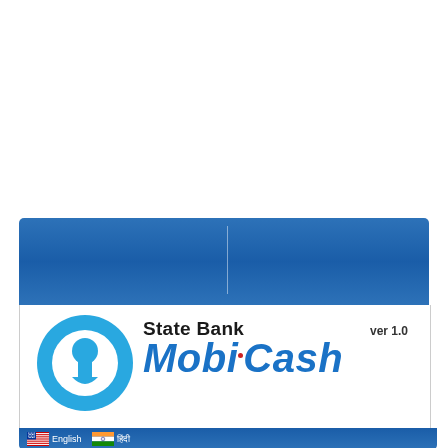[Figure (logo): State Bank MobiCash app logo version 1.0. Features the State Bank of India circular blue logo on the left, bold text 'State Bank' above and 'MobiCash' in large italic blue text below with a red dot over the 'i', and 'ver 1.0' in the upper right. The logo is on a white background framed by a blue banner header. At the bottom is a language selector with US and Indian flags for English and Hindi.]